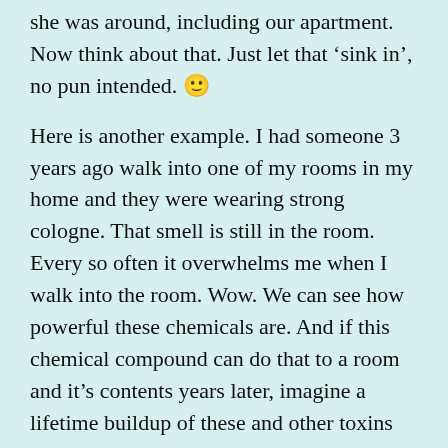she was around, including our apartment. Now think about that. Just let that 'sink in', no pun intended. 🙂
Here is another example. I had someone 3 years ago walk into one of my rooms in my home and they were wearing strong cologne. That smell is still in the room. Every so often it overwhelms me when I walk into the room. Wow. We can see how powerful these chemicals are. And if this chemical compound can do that to a room and it's contents years later, imagine a lifetime buildup of these and other toxins that are livers are dealing with. Chemical compounds used in perfumes and colognes have the same chemical compound construction as particular pesticides and herbicides. Also, everytime we pump gas we are exposed to toxins.
The list is unfortunately endless, but I will keep it